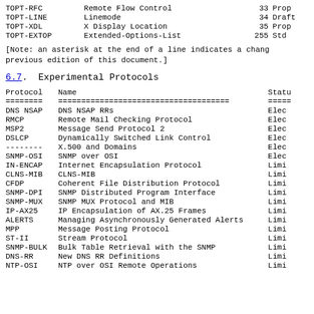| Protocol | Name | Num | Status |
| --- | --- | --- | --- |
| TOPT-RFC | Remote Flow Control | 33 | Prop |
| TOPT-LINE | Linemode | 34 | Draft |
| TOPT-XDL | X Display Location | 35 | Prop |
| TOPT-EXTOP | Extended-Options-List | 255 | Std |
[Note: an asterisk at the end of a line indicates a change from the previous edition of this document.]
6.7.  Experimental Protocols
| Protocol | Name | Status |
| --- | --- | --- |
| DNS NSAP | DNS NSAP RRs | Elec |
| RMCP | Remote Mail Checking Protocol | Elec |
| MSP2 | Message Send Protocol 2 | Elec |
| DSLCP | Dynamically Switched Link Control | Elec |
| -------- | X.500 and Domains | Elec |
| SNMP-OSI | SNMP over OSI | Elec |
| IN-ENCAP | Internet Encapsulation Protocol | Limi |
| CLNS-MIB | CLNS-MIB | Limi |
| CFDP | Coherent File Distribution Protocol | Limi |
| SNMP-DPI | SNMP Distributed Program Interface | Limi |
| SNMP-MUX | SNMP MUX Protocol and MIB | Limi |
| IP-AX25 | IP Encapsulation of AX.25 Frames | Limi |
| ALERTS | Managing Asynchronously Generated Alerts | Limi |
| MPP | Message Posting Protocol | Limi |
| ST-II | Stream Protocol | Limi |
| SNMP-BULK | Bulk Table Retrieval with the SNMP | Limi |
| DNS-RR | New DNS RR Definitions | Limi |
| NTP-OSI | NTP over OSI Remote Operations | Limi |